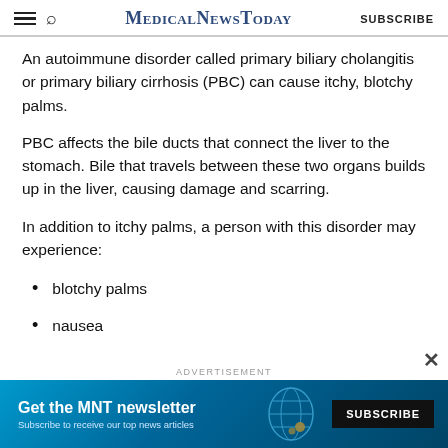MedicalNewsToday | SUBSCRIBE
An autoimmune disorder called primary biliary cholangitis or primary biliary cirrhosis (PBC) can cause itchy, blotchy palms.
PBC affects the bile ducts that connect the liver to the stomach. Bile that travels between these two organs builds up in the liver, causing damage and scarring.
In addition to itchy palms, a person with this disorder may experience:
blotchy palms
nausea
[Figure (screenshot): Advertisement banner: 'Get the MNT newsletter — Subscribe to receive our top news articles' with a SUBSCRIBE button on a blue background with globe graphic]